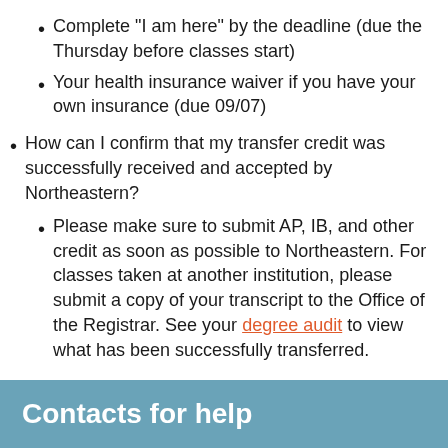Complete “I am here” by the deadline (due the Thursday before classes start)
Your health insurance waiver if you have your own insurance (due 09/07)
How can I confirm that my transfer credit was successfully received and accepted by Northeastern?
Please make sure to submit AP, IB, and other credit as soon as possible to Northeastern. For classes taken at another institution, please submit a copy of your transcript to the Office of the Registrar. See your degree audit to view what has been successfully transferred.
Contacts for help